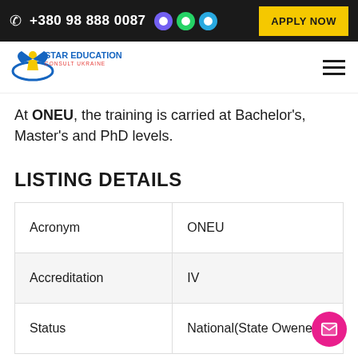+380 98 888 0087  APPLY NOW
At ONEU, the training is carried at Bachelor's, Master's and PhD levels.
LISTING DETAILS
|  |  |
| --- | --- |
| Acronym | ONEU |
| Accreditation | IV |
| Status | National(State Owened |